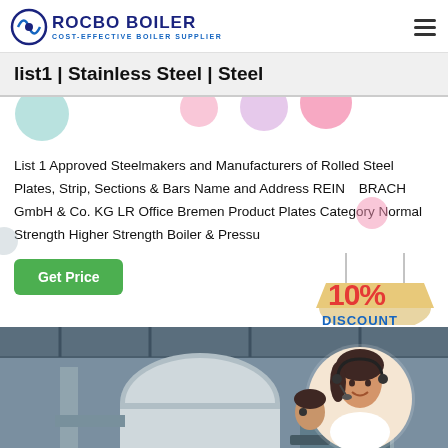ROCBO BOILER – COST-EFFECTIVE BOILER SUPPLIER
list1 | Stainless Steel | Steel
List 1 Approved Steelmakers and Manufacturers of Rolled Steel Plates, Strip, Sections & Bars Name and Address REINER BRACH GmbH & Co. KG LR Office Bremen Product Plates Category Normal Strength Higher Strength Boiler & Pressu
[Figure (infographic): 10% DISCOUNT badge with decorative balloons/bubbles in teal, pink, purple, green colors]
[Figure (photo): Industrial boiler factory floor with large cylindrical steel equipment; overlaid image of a smiling female customer service representative wearing a headset]